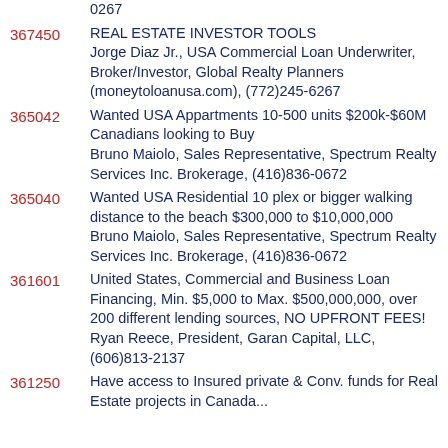0267
367450 REAL ESTATE INVESTOR TOOLS Jorge Diaz Jr., USA Commercial Loan Underwriter, Broker/Investor, Global Realty Planners (moneytoloanusa.com), (772)245-6267
365042 Wanted USA Appartments 10-500 units $200k-$60M Canadians looking to Buy Bruno Maiolo, Sales Representative, Spectrum Realty Services Inc. Brokerage, (416)836-0672
365040 Wanted USA Residential 10 plex or bigger walking distance to the beach $300,000 to $10,000,000 Bruno Maiolo, Sales Representative, Spectrum Realty Services Inc. Brokerage, (416)836-0672
361601 United States, Commercial and Business Loan Financing, Min. $5,000 to Max. $500,000,000, over 200 different lending sources, NO UPFRONT FEES! Ryan Reece, President, Garan Capital, LLC, (606)813-2137
361250 Have access to Insured private & Conv. funds for Real Estate projects in Canada...